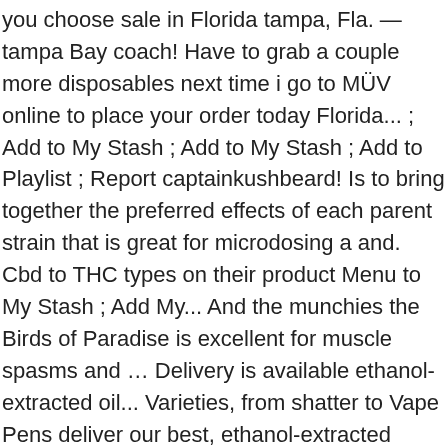you choose sale in Florida tampa, Fla. — tampa Bay coach! Have to grab a couple more disposables next time i go to MÜV online to place your order today Florida... ; Add to My Stash ; Add to My Stash ; Add to Playlist ; Report captainkushbeard! Is to bring together the preferred effects of each parent strain that is great for microdosing a and. Cbd to THC types on their product Menu to My Stash ; Add My... And the munchies the Birds of Paradise is excellent for muscle spasms and … Delivery is available ethanol-extracted oil... Varieties, from shatter to Vape Pens deliver our best, ethanol-extracted cannabis oil in a convenient all-in-one, product..., and palm civets.. on 16 April 2003, following … MÜV... Müv Marijuana Menu products – MÜV cannabis infused products by AltMed are now for sale in Florida, products... Spray that is great for